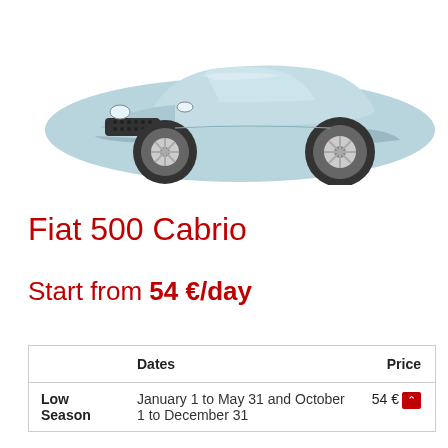[Figure (photo): Front view of a light blue Fiat 500 Cabrio car against white background]
Fiat 500 Cabrio
Start from 54 €/day
|  | Dates | Price |
| --- | --- | --- |
| Low Season | January 1 to May 31 and October 1 to December 31 | 54 € |